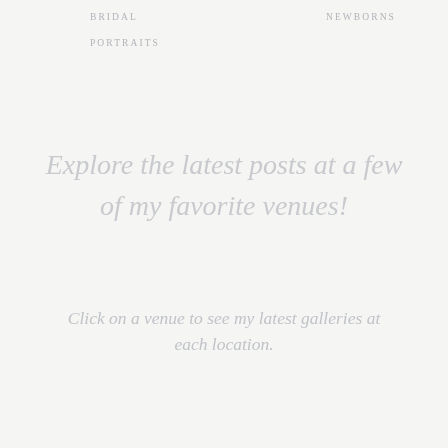BRIDAL    NEWBORNS
PORTRAITS
Explore the latest posts at a few of my favorite venues!
Click on a venue to see my latest galleries at each location.